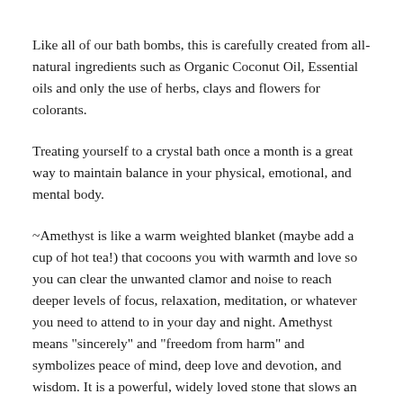Like all of our bath bombs, this is carefully created from all-natural ingredients such as Organic Coconut Oil, Essential oils and only the use of herbs, clays and flowers for colorants.
Treating yourself to a crystal bath once a month is a great way to maintain balance in your physical, emotional, and mental body.
~Amethyst is like a warm weighted blanket (maybe add a cup of hot tea!) that cocoons you with warmth and love so you can clear the unwanted clamor and noise to reach deeper levels of focus, relaxation, meditation, or whatever you need to attend to in your day and night. Amethyst means "sincerely" and "freedom from harm" and symbolizes peace of mind, deep love and devotion, and wisdom. It is a powerful, widely loved stone that slows an overactive mind, and draws off unwanted stressors